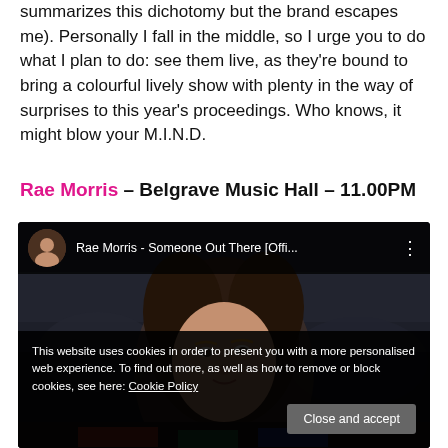summarizes this dichotomy but the brand escapes me). Personally I fall in the middle, so I urge you to do what I plan to do: see them live, as they're bound to bring a colourful lively show with plenty in the way of surprises to this year's proceedings. Who knows, it might blow your M.I.N.D.
Rae Morris – Belgrave Music Hall – 11.00PM
[Figure (screenshot): YouTube video embed showing 'Rae Morris - Someone Out There [Offi...' with a cookie consent overlay banner at the bottom containing a 'Close and accept' button.]